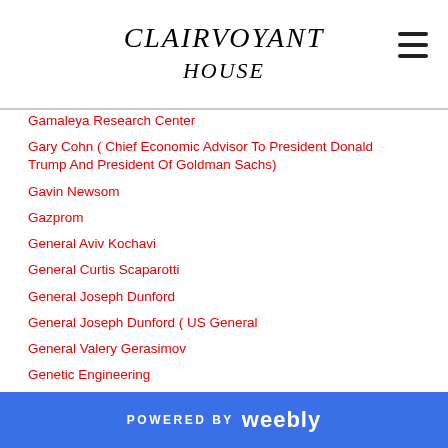CLAIRVOYANT HOUSE
Gamaleya Research Center
Gary Cohn ( Chief Economic Advisor To President Donald Trump And President Of Goldman Sachs)
Gavin Newsom
Gazprom
General Aviv Kochavi
General Curtis Scaparotti
General Joseph Dunford
General Joseph Dunford ( US General
General Valery Gerasimov
Genetic Engineering
Gen. Michael Flynn
Genome Sequencing
Gent Sejko (Governor Of Bank Of Albania)
George Floyd
POWERED BY weebly